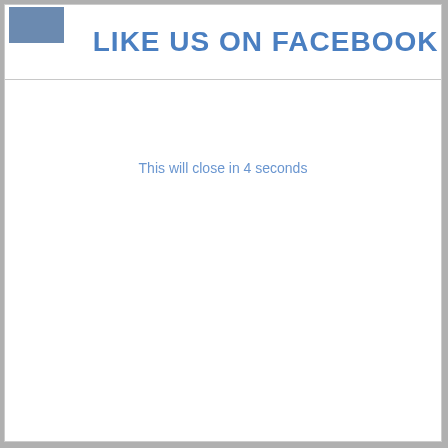[Figure (screenshot): Small thumbnail image in top-left corner of modal header]
LIKE US ON FACEBOOK ✕
This will close in 4 seconds